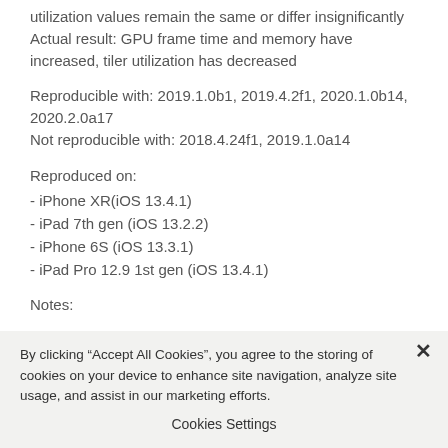utilization values remain the same or differ insignificantly Actual result: GPU frame time and memory have increased, tiler utilization has decreased
Reproducible with: 2019.1.0b1, 2019.4.2f1, 2020.1.0b14, 2020.2.0a17
Not reproducible with: 2018.4.24f1, 2019.1.0a14
Reproduced on:
- iPhone XR(iOS 13.4.1)
- iPad 7th gen (iOS 13.2.2)
- iPhone 6S (iOS 13.3.1)
- iPad Pro 12.9 1st gen (iOS 13.4.1)
Notes:
By clicking “Accept All Cookies”, you agree to the storing of cookies on your device to enhance site navigation, analyze site usage, and assist in our marketing efforts.
Cookies Settings